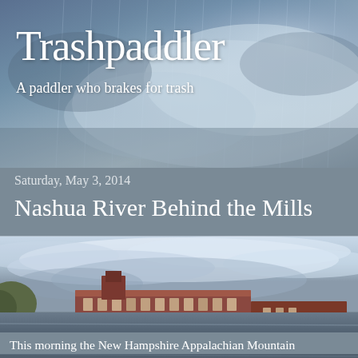Trashpaddler
A paddler who brakes for trash
Saturday, May 3, 2014
Nashua River Behind the Mills
[Figure (photo): View from a kayak on the Nashua River, looking toward brick mill buildings along the riverbank, under a cloudy sky. A red kayak bow tip is visible in the foreground.]
This morning the New Hampshire Appalachian Mountain